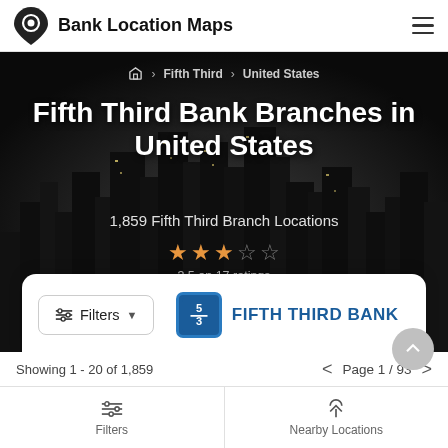Bank Location Maps
Fifth Third > United States
Fifth Third Bank Branches in United States
1,859 Fifth Third Branch Locations
3.5 on 17 ratings
[Figure (logo): Fifth Third Bank logo — blue square with 5/3 fraction mark]
Showing 1 - 20 of 1,859
Page 1 / 93
Filters
Nearby Locations